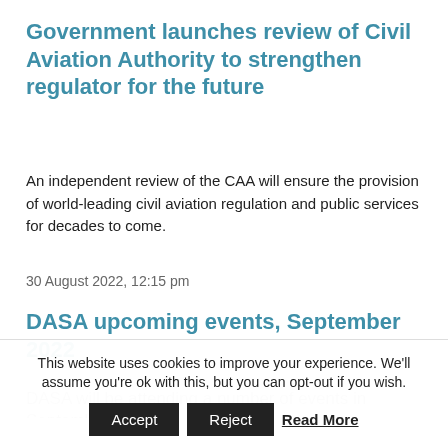Government launches review of Civil Aviation Authority to strengthen regulator for the future
An independent review of the CAA will ensure the provision of world-leading civil aviation regulation and public services for decades to come.
30 August 2022, 12:15 pm
DASA upcoming events, September 2022
DASA will be attending a number of events in September
This website uses cookies to improve your experience. We'll assume you're ok with this, but you can opt-out if you wish.